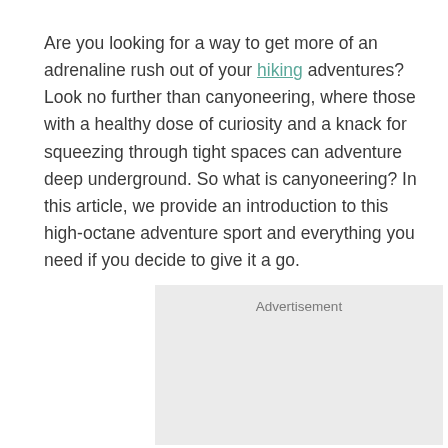Are you looking for a way to get more of an adrenaline rush out of your hiking adventures? Look no further than canyoneering, where those with a healthy dose of curiosity and a knack for squeezing through tight spaces can adventure deep underground. So what is canyoneering? In this article, we provide an introduction to this high-octane adventure sport and everything you need if you decide to give it a go.
[Figure (other): Advertisement placeholder box with light gray background and 'Advertisement' label at the top.]